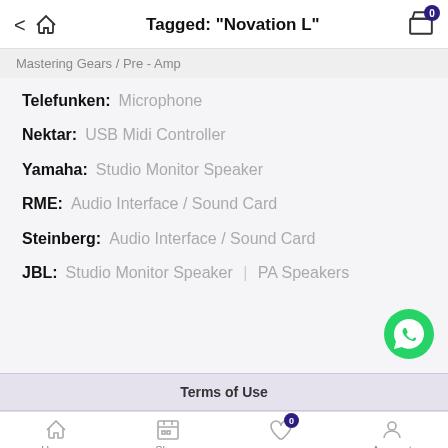Tagged: "Novation L"
Mastering Gears / Pre - Amp
Telefunken: Microphone
Nektar: USB Midi Controller
Yamaha: Studio Monitor Speaker
RME: Audio Interface / Sound Card
Steinberg: Audio Interface / Sound Card
JBL: Studio Monitor Speaker | PA Speakers
Terms of Use
Home  Shop  Wishlist  Account